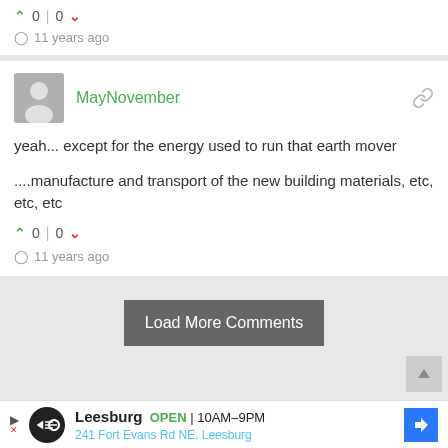0 | 0
11 years ago
MayNovember
yeah... except for the energy used to run that earth mover

....manufacture and transport of the new building materials, etc, etc, etc
0 | 0
11 years ago
Load More Comments
Leesburg OPEN | 10AM-9PM 241 Fort Evans Rd NE, Leesburg